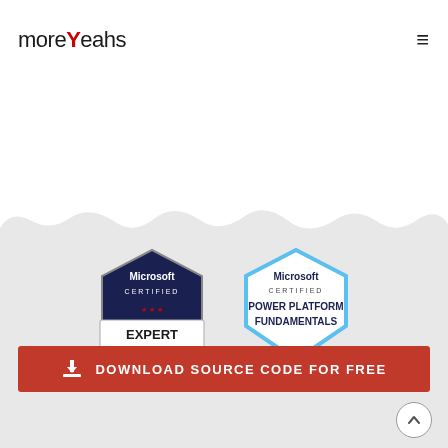moreYeahs [hamburger menu]
[Figure (logo): moreYeahs logo in black text with a red checkmark Y letter]
[Figure (illustration): Cloud/sky decorative divider between white and gray background sections]
[Figure (illustration): Microsoft Certified Expert badge - dark navy blue shield shape with 'Microsoft CERTIFIED EXPERT' text]
[Figure (illustration): Microsoft Certified Power Platform Fundamentals badge - light blue shield shape with 'Microsoft CERTIFIED POWER PLATFORM FUNDAMENTALS' text]
[Figure (illustration): Red download banner with download icon and text 'DOWNLOAD SOURCE CODE FOR FREE']
[Figure (illustration): Scroll to top circular button with upward arrow]